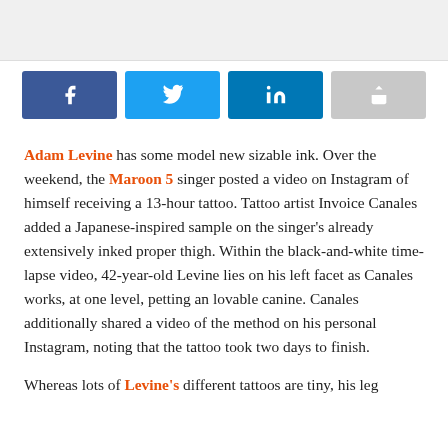[Figure (other): Top image placeholder area with light gray background]
[Figure (infographic): Social share buttons row: Facebook (blue), Twitter (light blue), LinkedIn (dark blue), Share (gray)]
Adam Levine has some model new sizable ink. Over the weekend, the Maroon 5 singer posted a video on Instagram of himself receiving a 13-hour tattoo. Tattoo artist Invoice Canales added a Japanese-inspired sample on the singer's already extensively inked proper thigh. Within the black-and-white time-lapse video, 42-year-old Levine lies on his left facet as Canales works, at one level, petting an lovable canine. Canales additionally shared a video of the method on his personal Instagram, noting that the tattoo took two days to finish.
Whereas lots of Levine's different tattoos are tiny, his leg